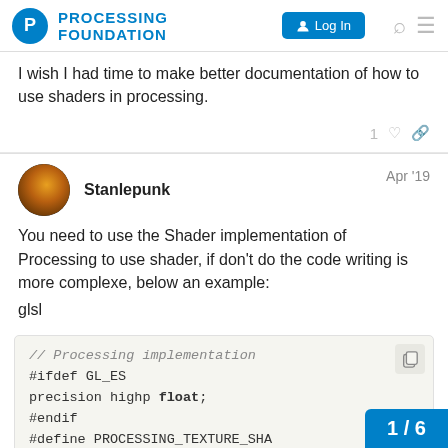PROCESSING FOUNDATION | Log In
I wish I had time to make better documentation of how to use shaders in processing.
Stanlepunk  Apr '19
You need to use the Shader implementation of Processing to use shader, if don't do the code writing is more complexe, below an example:
glsl
// Processing implementation
#ifdef GL_ES
precision highp float;
#endif
#define PROCESSING_TEXTURE_SHA...
varying vec4 vertColor;